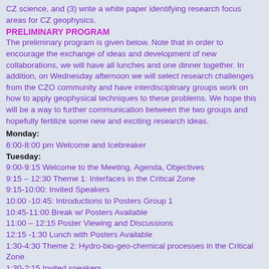CZ science, and (3) write a white paper identifying research focus areas for CZ geophysics.
PRELIMINARY PROGRAM
The preliminary program is given below. Note that in order to encourage the exchange of ideas and development of new collaborations, we will have all lunches and one dinner together. In addition, on Wednesday afternoon we will select research challenges from the CZO community and have interdisciplinary groups work on how to apply geophysical techniques to these problems. We hope this will be a way to further communication between the two groups and hopefully fertilize some new and exciting research ideas.
Monday:
6:00-8:00 pm Welcome and Icebreaker
Tuesday:
9:00-9:15 Welcome to the Meeting, Agenda, Objectives
9:15 – 12:30 Theme 1: Interfaces in the Critical Zone
9:15-10:00: Invited Speakers
10:00 -10:45: Introductions to Posters Group 1
10:45-11:00 Break w/ Posters Available
11:00 – 12:15 Poster Viewing and Discussions
12:15 -1:30 Lunch with Posters Available
1:30-4:30 Theme 2: Hydro-bio-geo-chemical processes in the Critical Zone
1:30-2:15 Invited speakers
2:15-3:00 Introduction to Posters Group 2
3:00-3:45 Break w/ Posters Available